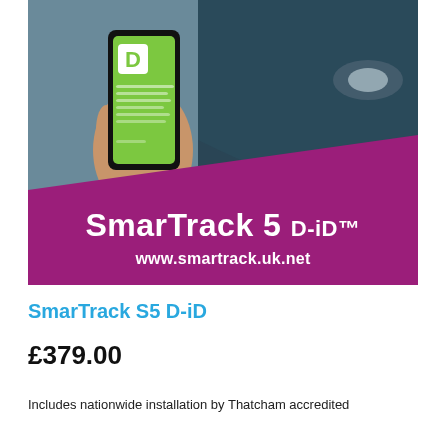[Figure (photo): Product photo showing a hand holding a smartphone with green screen and 'D' logo app, next to a dark-colored car with alloy wheel. Purple diagonal banner at bottom reads 'SmarTrack 5 D-iD™' and 'www.smartrack.uk.net']
SmarTrack S5 D-iD
£379.00
Includes nationwide installation by Thatcham accredited